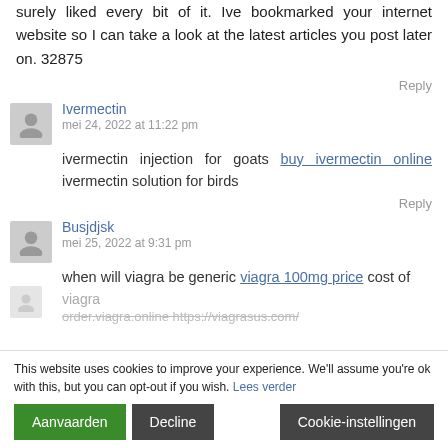surely liked every bit of it. Ive bookmarked your internet website so I can take a look at the latest articles you post later on. 32875
Reply
Ivermectin
mei 24, 2022 at 11:22 pm
ivermectin injection for goats buy ivermectin online ivermectin solution for birds
Reply
Busjdjsk
mei 25, 2022 at 9:31 pm
when will viagra be generic viagra 100mg price cost of viagra
order.viagra.online https://viagrasus.com/
This website uses cookies to improve your experience. We'll assume you're ok with this, but you can opt-out if you wish. Lees verder
Aanvaarden
Decline
Cookie-instellingen